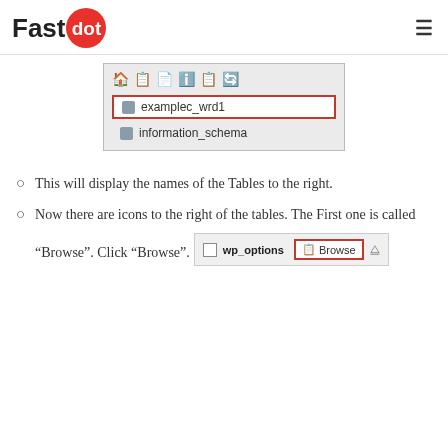Fastdot (logo with hamburger menu)
[Figure (screenshot): phpMyAdmin database list showing examplec_wrd1 selected (with red border) and information_schema below it, with toolbar icons at top]
This will display the names of the Tables to the right.
Now there are icons to the right of the tables. The First one is called “Browse”. Click “Browse”.
[Figure (screenshot): phpMyAdmin table row showing wp_options with a checkbox, and a Browse button highlighted with red border]